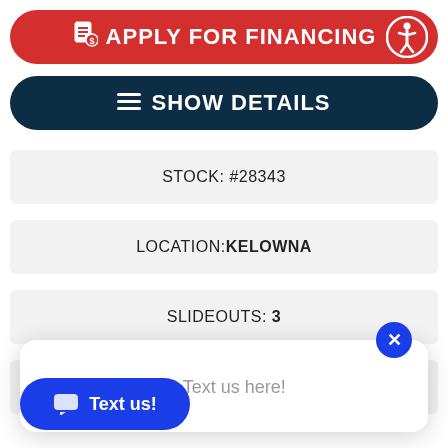APPLY FOR FINANCING
SHOW DETAILS
STOCK: #28343
LOCATION: KELOWNA
SLIDEOUTS: 3
LENGTH: 37.83 FT
Have a question? Text us here!
Text us!